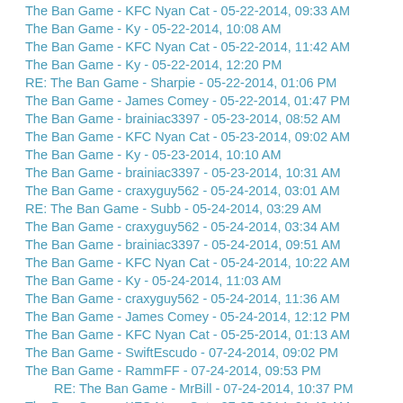The Ban Game - KFC Nyan Cat - 05-22-2014, 09:33 AM
The Ban Game - Ky - 05-22-2014, 10:08 AM
The Ban Game - KFC Nyan Cat - 05-22-2014, 11:42 AM
The Ban Game - Ky - 05-22-2014, 12:20 PM
RE: The Ban Game - Sharpie - 05-22-2014, 01:06 PM
The Ban Game - James Comey - 05-22-2014, 01:47 PM
The Ban Game - brainiac3397 - 05-23-2014, 08:52 AM
The Ban Game - KFC Nyan Cat - 05-23-2014, 09:02 AM
The Ban Game - Ky - 05-23-2014, 10:10 AM
The Ban Game - brainiac3397 - 05-23-2014, 10:31 AM
The Ban Game - craxyguy562 - 05-24-2014, 03:01 AM
RE: The Ban Game - Subb - 05-24-2014, 03:29 AM
The Ban Game - craxyguy562 - 05-24-2014, 03:34 AM
The Ban Game - brainiac3397 - 05-24-2014, 09:51 AM
The Ban Game - KFC Nyan Cat - 05-24-2014, 10:22 AM
The Ban Game - Ky - 05-24-2014, 11:03 AM
The Ban Game - craxyguy562 - 05-24-2014, 11:36 AM
The Ban Game - James Comey - 05-24-2014, 12:12 PM
The Ban Game - KFC Nyan Cat - 05-25-2014, 01:13 AM
The Ban Game - SwiftEscudo - 07-24-2014, 09:02 PM
The Ban Game - RammFF - 07-24-2014, 09:53 PM
RE: The Ban Game - MrBill - 07-24-2014, 10:37 PM
The Ban Game - KFC Nyan Cat - 07-25-2014, 01:42 AM